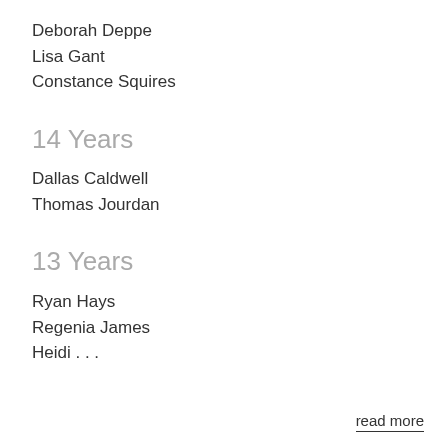Deborah Deppe
Lisa Gant
Constance Squires
14 Years
Dallas Caldwell
Thomas Jourdan
13 Years
Ryan Hays
Regenia James
Heidi . . .
read more